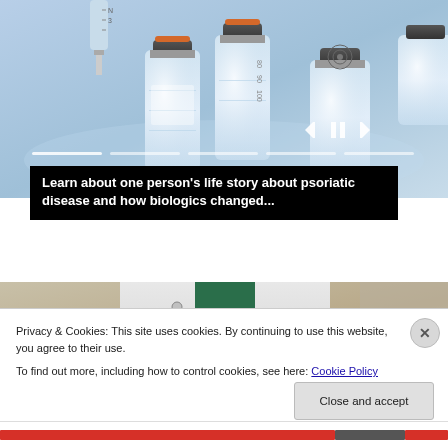[Figure (photo): Medical vials and syringes on a blue background, top image]
Learn about one person's life story about psoriatic disease and how biologics changed...
[Figure (photo): Doctor in white coat with stethoscope, partial view]
Privacy & Cookies: This site uses cookies. By continuing to use this website, you agree to their use.
To find out more, including how to control cookies, see here: Cookie Policy
Close and accept